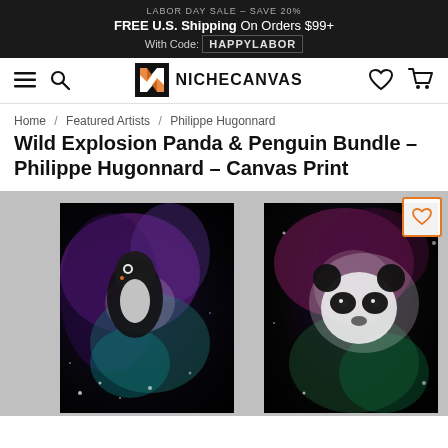LABOR DAY SALE – SAVE 20% | FREE U.S. Shipping On Orders $99+ | With Code: HAPPYLABOR
[Figure (logo): NicheCanvas logo with stylized N icon and text NICHECANVAS]
Home / Featured Artists / Philippe Hugonnard
Wild Explosion Panda & Penguin Bundle - Philippe Hugonnard - Canvas Print
[Figure (photo): Two canvas prints side by side showing an artistic explosion paint effect on a penguin (left, dark background with purple/teal explosion) and a panda (right, dark background with purple/green explosion)]